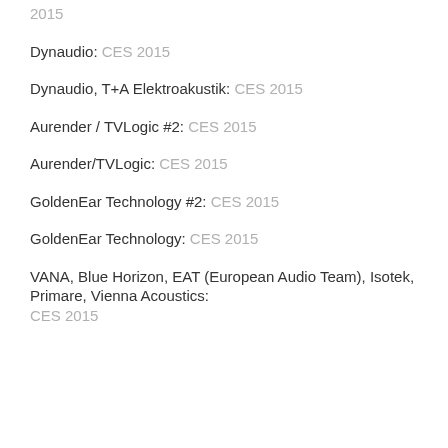2015
Dynaudio: CES 2015
Dynaudio, T+A Elektroakustik: CES 2015
Aurender / TVLogic #2: CES 2015
Aurender/TVLogic: CES 2015
GoldenEar Technology #2: CES 2015
GoldenEar Technology: CES 2015
VANA, Blue Horizon, EAT (European Audio Team), Isotek, Primare, Vienna Acoustics: CES 2015